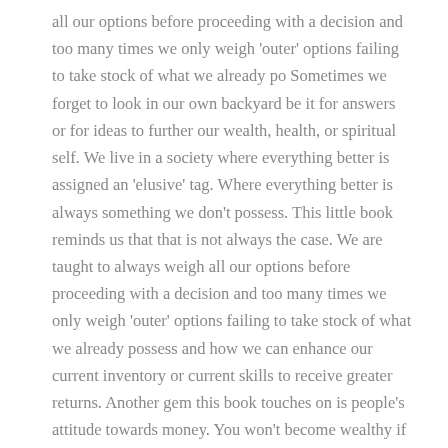all our options before proceeding with a decision and too many times we only weigh 'outer' options failing to take stock of what we already po Sometimes we forget to look in our own backyard be it for answers or for ideas to further our wealth, health, or spiritual self. We live in a society where everything better is assigned an 'elusive' tag. Where everything better is always something we don't possess. This little book reminds us that that is not always the case. We are taught to always weigh all our options before proceeding with a decision and too many times we only weigh 'outer' options failing to take stock of what we already possess and how we can enhance our current inventory or current skills to receive greater returns. Another gem this book touches on is people's attitude towards money. You won't become wealthy if you believe money to